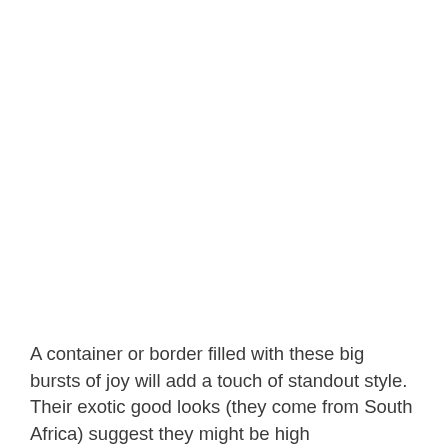A container or border filled with these big bursts of joy will add a touch of standout style. Their exotic good looks (they come from South Africa) suggest they might be high